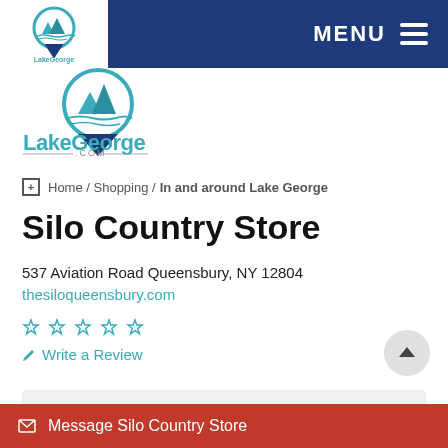MENU
[Figure (logo): LakeGeorge.com logo with circular lake/mountain icon and blue text]
Home / Shopping / In and around Lake George
Silo Country Store
537 Aviation Road Queensbury, NY 12804
thesiloqueensbury.com
☆ ☆ ☆ ☆ ☆ Write a Review
[Figure (other): Media slideshow strip with play button and navigation arrows]
Message Silo Country Store